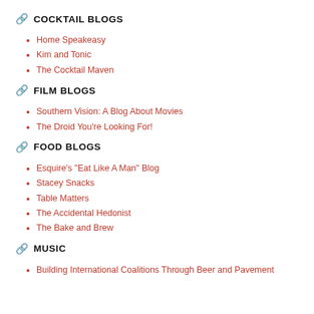COCKTAIL BLOGS
Home Speakeasy
Kim and Tonic
The Cocktail Maven
FILM BLOGS
Southern Vision: A Blog About Movies
The Droid You're Looking For!
FOOD BLOGS
Esquire's "Eat Like A Man" Blog
Stacey Snacks
Table Matters
The Accidental Hedonist
The Bake and Brew
MUSIC
Building International Coalitions Through Beer and Pavement